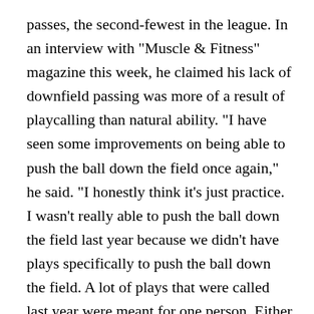passes, the second-fewest in the league. In an interview with "Muscle & Fitness" magazine this week, he claimed his lack of downfield passing was more of a result of playcalling than natural ability. "I have seen some improvements on being able to push the ball down the field once again," he said. "I honestly think it's just practice. I wasn't really able to push the ball down the field last year because we didn't have plays specifically to push the ball down the field. A lot of plays that were called last year were meant for one person. Either this person is open, or the play might be dead. "It's a little different now. My second year was different than my rookie year and this year will be different than last year with how we go about doing things. I definitely feel a lot more confident being able to push the ball down the field. It's going to be exciting." In that same interview, Tagovailoa said he spent a majority of his offseason by devoting his focus to becoming his own toughest